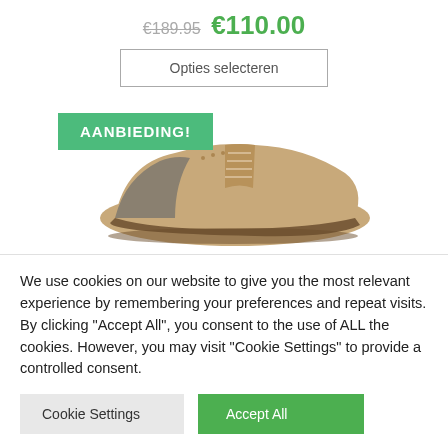€189.95  €110.00
Opties selecteren
[Figure (photo): Brown leather oxford shoe with brogue detailing, partially visible from the side. Green 'AANBIEDING!' badge overlaid on the top left of the image.]
We use cookies on our website to give you the most relevant experience by remembering your preferences and repeat visits. By clicking "Accept All", you consent to the use of ALL the cookies. However, you may visit "Cookie Settings" to provide a controlled consent.
Cookie Settings
Accept All